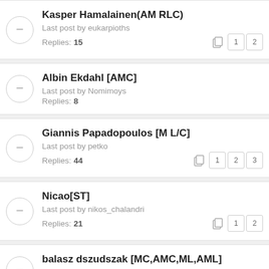Kasper Hamalainen(AM RLC)
Last post by eukarpioths
Replies: 15
Albin Ekdahl [AMC]
Last post by Nomimoys
Replies: 8
Giannis Papadopoulos [M L/C]
Last post by petko
Replies: 44
Nicao[ST]
Last post by nikos_chalandri
Replies: 21
balasz dszudszak [MC,AMC,ML,AML]
Last post by thodorispalios
Replies: 4